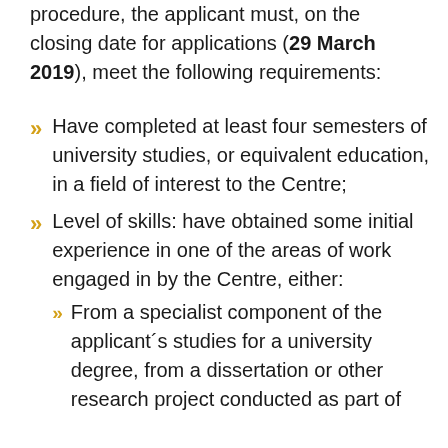procedure, the applicant must, on the closing date for applications (29 March 2019), meet the following requirements:
Have completed at least four semesters of university studies, or equivalent education, in a field of interest to the Centre;
Level of skills: have obtained some initial experience in one of the areas of work engaged in by the Centre, either:
From a specialist component of the applicant´s studies for a university degree, from a dissertation or other research project conducted as part of